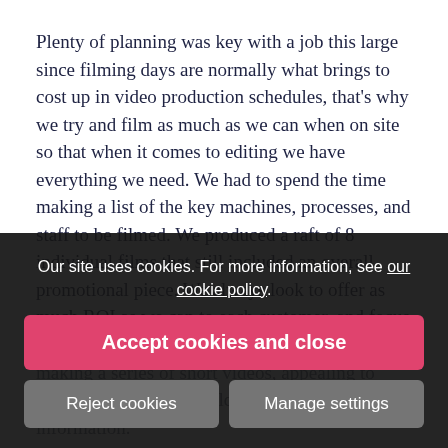Plenty of planning was key with a job this large since filming days are normally what brings to cost up in video production schedules, that’s why we try and film as much as we can when on site so that when it comes to editing we have everything we need. We had to spend the time making a list of the key machines, processes, and staff to be filmed. We produced a raft of 8 individual films that still included an overall promotional piece. We always look to offer as much ROI as we can to each customer, and focus on achieving the project goals. Therefore, making a series of short videos, appealing to multiple customers would give the maximum information.
It was a pleasure working with Prism Studios, and we can’t say enough good things about our service. “Prism Studios have done a super job creating our bespoke, tailor wanted videos that reflected our products and processes, along
Our site uses cookies. For more information, see our cookie policy.
Accept cookies and close
Reject cookies
Manage settings